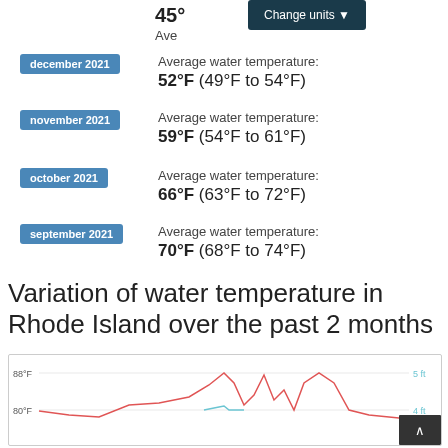45°
Change units ▼
december 2021 — Average water temperature: 52°F (49°F to 54°F)
november 2021 — Average water temperature: 59°F (54°F to 61°F)
october 2021 — Average water temperature: 66°F (63°F to 72°F)
september 2021 — Average water temperature: 70°F (68°F to 74°F)
Variation of water temperature in Rhode Island over the past 2 months
[Figure (line-chart): Line chart showing variation of water temperature in Rhode Island over the past 2 months, with y-axis labels 88°F and 80°F on the left, and 5 ft and 4 ft on the right in blue. A red line shows temperature fluctuations and a light blue line shows water levels.]